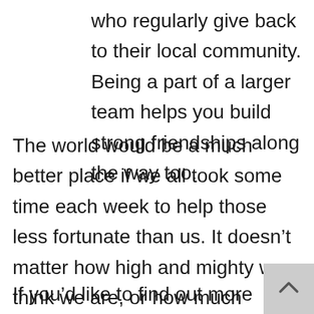who regularly give back to their local community. Being a part of a larger team helps you build strong friendships along the way too.
The world would be a much better place if we all took some time each week to help those less fortunate than us. It doesn’t matter how high and mighty we think we are, or how much money we make – each of us can afford to spare some time or money to help others.
If you’d like to find out more about teaching